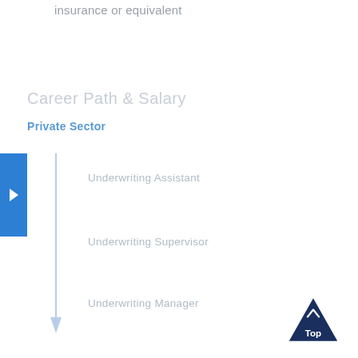insurance or equivalent
Career Path & Salary
Private Sector
Underwriting Assistant
Underwriting Supervisor
Underwriting Manager